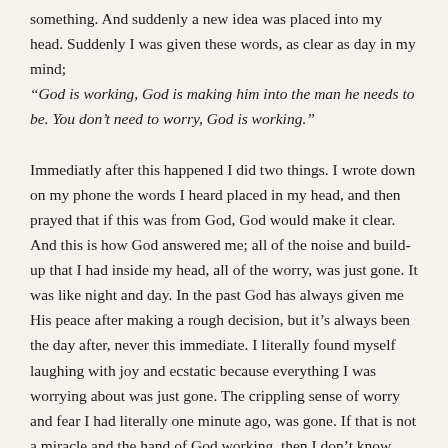something. And suddenly a new idea was placed into my head. Suddenly I was given these words, as clear as day in my mind; “God is working, God is making him into the man he needs to be. You don’t need to worry, God is working.”

Immediatly after this happened I did two things. I wrote down on my phone the words I heard placed in my head, and then prayed that if this was from God, God would make it clear. And this is how God answered me; all of the noise and build-up that I had inside my head, all of the worry, was just gone. It was like night and day. In the past God has always given me His peace after making a rough decision, but it’s always been the day after, never this immediate. I literally found myself laughing with joy and ecstatic because everything I was worrying about was just gone. The crippling sense of worry and fear I had literally one minute ago, was gone. If that is not a miracle and the hand of God working, then I don’t know what is.